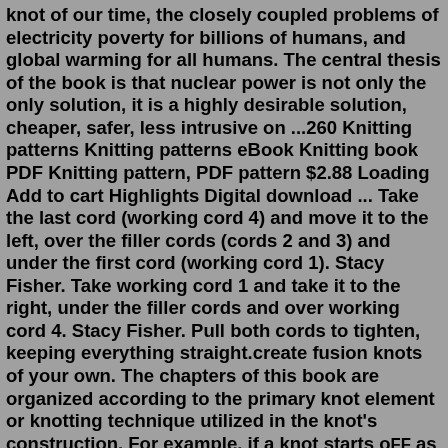knot of our time, the closely coupled problems of electricity poverty for billions of humans, and global warming for all humans. The central thesis of the book is that nuclear power is not only the only solution, it is a highly desirable solution, cheaper, safer, less intrusive on ...260 Knitting patterns Knitting patterns eBook Knitting book PDF Knitting pattern, PDF pattern $2.88 Loading Add to cart Highlights Digital download ... Take the last cord (working cord 4) and move it to the left, over the filler cords (cords 2 and 3) and under the first cord (working cord 1). Stacy Fisher. Take working cord 1 and take it to the right, under the filler cords and over working cord 4. Stacy Fisher. Pull both cords to tighten, keeping everything straight.create fusion knots of your own. The chapters of this book are organized according to the primary knot element or knotting technique utilized in the knot's construction. For example, if a knot starts off as a Double Coin Knot, but finishes with a technique associated with the Trinity Knot (as seen in the Djinn Bottle Knot),